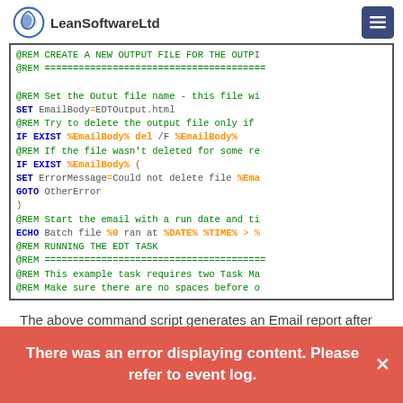LeanSoftwareLtd
[Figure (screenshot): Code block showing Windows batch script with syntax highlighting. Commands include @REM comments in green, SET, IF EXIST, GOTO, ECHO keywords in blue/bold, and variable references like %EmailBody%, %DATE%, %TIME% in orange.]
The above command script generates an Email report after Task execution.
There was an error displaying content. Please refer to event log.